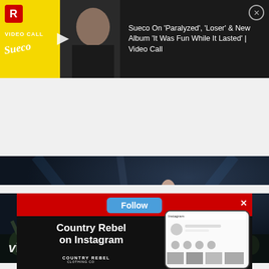[Figure (screenshot): Video card for 'Sueco On Paralyzed, Loser & New Album It Was Fun While It Lasted | Video Call' with thumbnail showing Sueco and yellow Video Call logo]
Sueco On 'Paralyzed', 'Loser' & New Album 'It Was Fun While It Lasted' | Video Call
[Figure (screenshot): Vivo music video thumbnail showing concert stage performance with crowd, YouTube play button overlay and Vivo logo]
[Figure (screenshot): Country Rebel Instagram follow advertisement with Follow button, 'Country Rebel on Instagram' text, Country Rebel Clothing Co logo, and phone mockup showing Instagram profile]